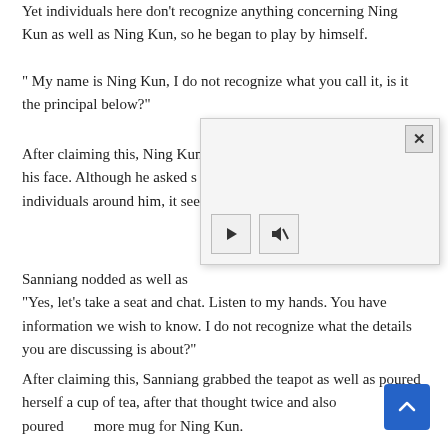Yet individuals here don't recognize anything concerning Ning Kun as well as Ning Kun, so he began to play by himself.
" My name is Ning Kun, I do not recognize what you call it, is it the principal below?"
After claiming this, Ning Kun [obscured by modal] his face. Although he asked s[obscured] individuals around him, it see[obscured]
[Figure (screenshot): A modal/popup video player overlay with a white background, a close button (×) in the top right corner, and two control buttons (play ▶ and mute/unmute with slash icon) at the bottom left.]
Sanniang nodded as well as [obscured] his smiles was also said: "Yes, let's take a seat and chat. Listen to my hands. You have information we wish to know. I do not recognize what the details you are discussing is about?"
After claiming this, Sanniang grabbed the teapot as well as poured herself a cup of tea, after that thought twice and also poured [obscured] more mug for Ning Kun.